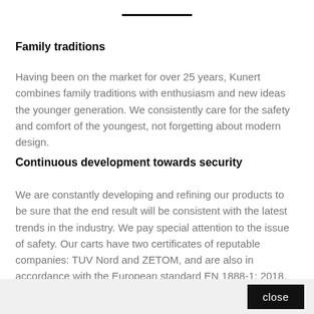Family traditions
Having been on the market for over 25 years, Kunert combines family traditions with enthusiasm and new ideas the younger generation. We consistently care for the safety and comfort of the youngest, not forgetting about modern design.
Continuous development towards security
We are constantly developing and refining our products to be sure that the end result will be consistent with the latest trends in the industry. We pay special attention to the issue of safety. Our carts have two certificates of reputable companies: TUV Nord and ZETOM, and are also in accordance with the European standard EN 1888-1: 2018.
close